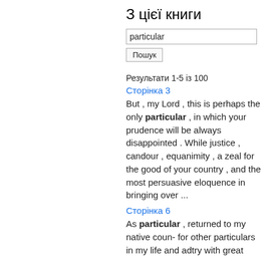З цієї книги
particular
Пошук
Результати 1-5 із 100
Сторінка 3
But , my Lord , this is perhaps the only particular , in which your prudence will be always disappointed . While justice , candour , equanimity , a zeal for the good of your country , and the most persuasive eloquence in bringing over ...
Сторінка 6
As particular , returned to my native coun- for other particulars in my life and adtry with great